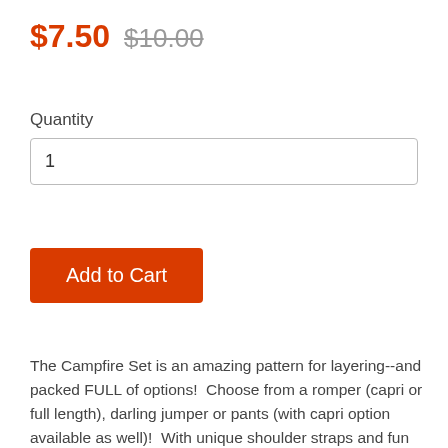$7.50  $10.00
Quantity
1
Add to Cart
The Campfire Set is an amazing pattern for layering--and packed FULL of options!  Choose from a romper (capri or full length), darling jumper or pants (with capri option available as well)!  With unique shoulder straps and fun side dip design, this tie-back style is great for layering in the fall!   Pocket options are included!
Suggested fabric for this pattern is a structured knit with at least 35% stretch, such as ponte, stretch denim or